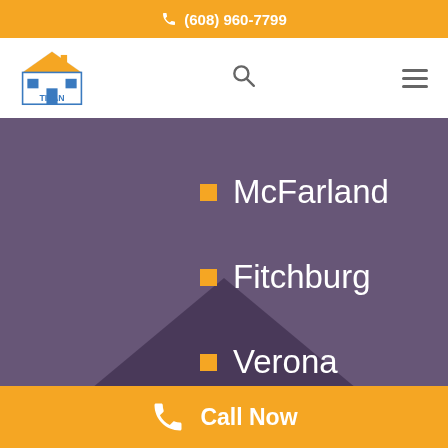(608) 960-7799
[Figure (logo): Titan logo with house/roof graphic and text TITAN]
McFarland
Fitchburg
Verona
Five Point (partially visible)
Call Now